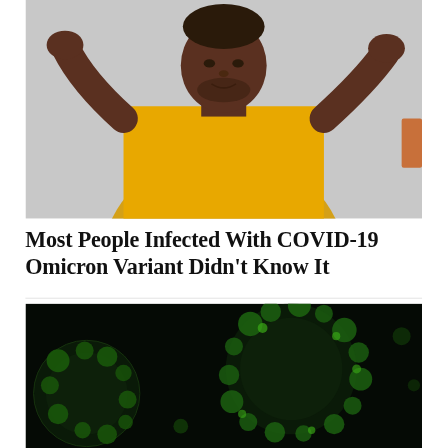[Figure (photo): A man in a yellow shirt with his hands raised in a shrugging gesture, looking upward with a puzzled expression, against a grey background]
Most People Infected With COVID-19 Omicron Variant Didn't Know It
[Figure (photo): Close-up microscopic image of coronavirus particles glowing green against a dark black background]